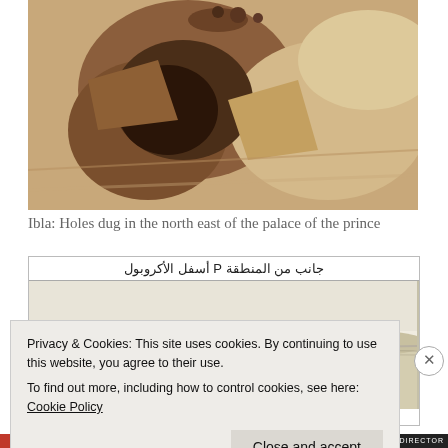[Figure (photo): Close-up photo of holes dug in sandy/rocky ground, showing excavation with brown soil and sand, archaeological dig site at Ibla palace northeast area]
Ibla: Holes dug in the north east of the palace of the prince
[Figure (photo): Archaeological site photo with Arabic header text reading: جانب من المنطقة P أسفل الأكروبول. Shows stone ruins and desert landscape.]
Privacy & Cookies: This site uses cookies. By continuing to use this website, you agree to their use.
To find out more, including how to control cookies, see here: Cookie Policy
Close and accept